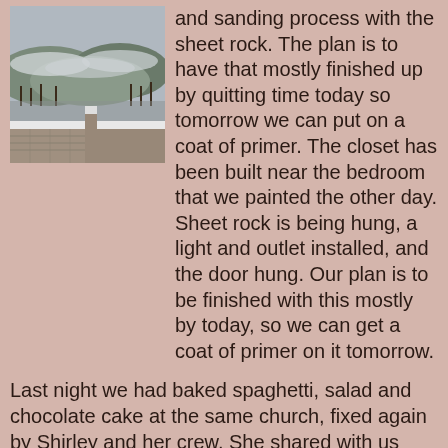[Figure (photo): Winter landscape view from a snowy balcony or wall overlooking a valley with snow-covered hills and bare trees in the background.]
and sanding process with the sheet rock. The plan is to have that mostly finished up by quitting time today so tomorrow we can put on a coat of primer. The closet has been built near the bedroom that we painted the other day. Sheet rock is being hung, a light and outlet installed, and the door hung. Our plan is to be finished with this mostly by today, so we can get a coat of primer on it tomorrow.
Last night we had baked spaghetti, salad and chocolate cake at the same church, fixed again by Shirley and her crew. She shared with us about God's call on her life, how she got from Anderson, SC to Big Stone Gap, VA and how God has used her and her family to minister to children and teens in this community. Her son, David, runs The Edge, the teen center that has bands to come in a play each Saturday night. Check out The Edge's myspace here.
Some have asked about the snoring situation. On Tuesday